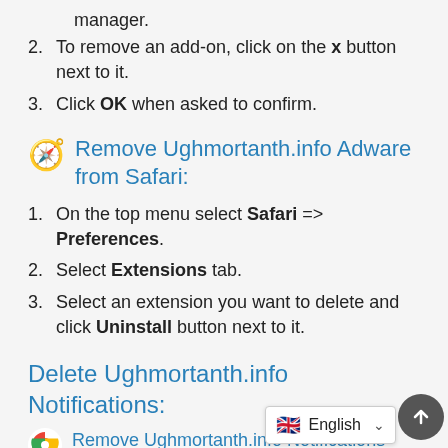1. Press Ctrl+Shift+E keys to open extensions manager.
2. To remove an add-on, click on the x button next to it.
3. Click OK when asked to confirm.
🧭 Remove Ughmortanth.info Adware from Safari:
1. On the top menu select Safari => Preferences.
2. Select Extensions tab.
3. Select an extension you want to delete and click Uninstall button next to it.
Delete Ughmortanth.info Notifications:
🔵 Remove Ughmortanth.info Notifications From Google Ch...